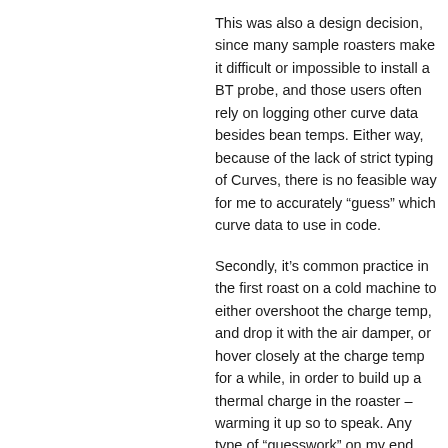This was also a design decision, since many sample roasters make it difficult or impossible to install a BT probe, and those users often rely on logging other curve data besides bean temps. Either way, because of the lack of strict typing of Curves, there is no feasible way for me to accurately “guess” which curve data to use in code.
Secondly, it’s common practice in the first roast on a cold machine to either overshoot the charge temp, and drop it with the air damper, or hover closely at the charge temp for a while, in order to build up a thermal charge in the roaster – warming it up so to speak. Any type of “guesswork” on my end, would lead to frequent false starts in these situations.
Now…I’m not against adding an “opt in” means of initiating an auto start. I’ve long envisioned this being a type of …